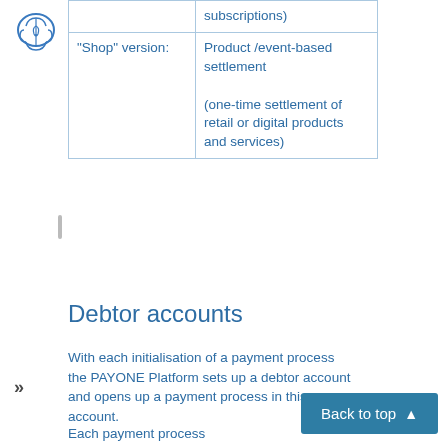|  | subscriptions) |
| "Shop" version: | Product /event-based settlement

(one-time settlement of retail or digital products and services) |
Debtor accounts
With each initialisation of a payment process the PAYONE Platform sets up a debtor account and opens up a payment process in this account.
Each payment process